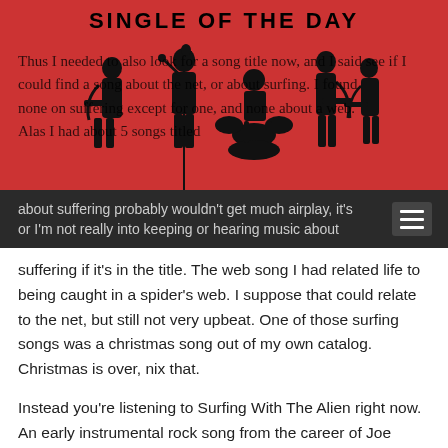[Figure (illustration): Red banner with 'SINGLE OF THE DAY' title and black silhouettes of a rock band performing with instruments]
Thus I needed to also look for a song title now, and I said see if I could find a song about the net, or about surfing. I found none on suffering except for one, and none about a web. Alas I had about 5 songs titled
about suffering probably wouldn't get much airplay, it's or I'm not really into keeping or hearing music about
suffering if it's in the title. The web song I had related life to being caught in a spider's web. I suppose that could relate to the net, but still not very upbeat. One of those surfing songs was a christmas song out of my own catalog. Christmas is over, nix that.
Instead you're listening to Surfing With The Alien right now. An early instrumental rock song from the career of Joe Satriani. Anyone familiar with the idea of guitar gods would mostly likely know that Joe has a page or two set aside in the guitar god book of who's who. Not only because he has created some absolutely fun songs that showcase his guitar playing, but also because he is the guru to several other guitar